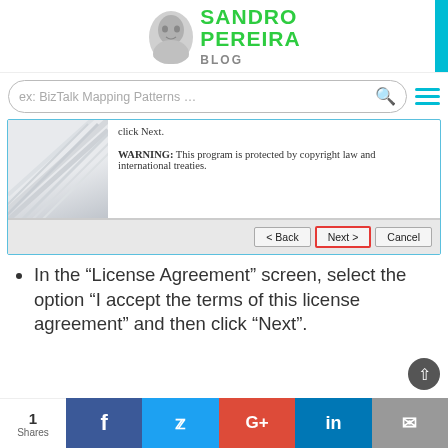[Figure (logo): Sandro Pereira Blog logo with face photo and green text]
[Figure (screenshot): Software installer screenshot showing warning text 'WARNING: This program is protected by copyright law and international treaties.' with Back, Next, and Cancel buttons; Next button is highlighted with red border]
In the “License Agreement” screen, select the option “I accept the terms of this license agreement” and then click “Next”.
[Figure (infographic): Social sharing bar with 1 Share count and Facebook, Twitter, Google+, LinkedIn, and Email buttons]